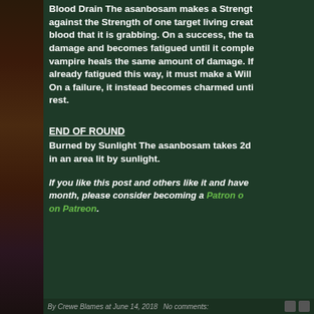Blood Drain The asanbosam makes a Strength contest against the Strength of one target living creature whose blood that it is grabbing. On a success, the target takes damage and becomes fatigued until it completes a rest. The vampire heals the same amount of damage. If the target is already fatigued this way, it must make a Will saving throw. On a failure, it instead becomes charmed until it completes a rest.
END OF ROUND
Burned by Sunlight The asanbosam takes 2d6 fire damage if it ends its turn in an area lit by sunlight.
If you like this post and others like it and have a spare $1 a month, please consider becoming a Patron on Patreon.
By Crewe Blames at June 14, 2018   No comments: